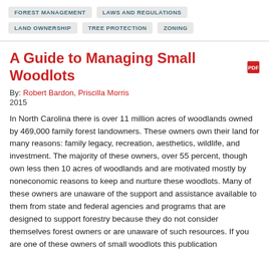FOREST MANAGEMENT
LAWS AND REGULATIONS
LAND OWNERSHIP
TREE PROTECTION
ZONING
A Guide to Managing Small Woodlots
By: Robert Bardon, Priscilla Morris
2015
In North Carolina there is over 11 million acres of woodlands owned by 469,000 family forest landowners. These owners own their land for many reasons: family legacy, recreation, aesthetics, wildlife, and investment. The majority of these owners, over 55 percent, though own less then 10 acres of woodlands and are motivated mostly by noneconomic reasons to keep and nurture these woodlots. Many of these owners are unaware of the support and assistance available to them from state and federal agencies and programs that are designed to support forestry because they do not consider themselves forest owners or are unaware of such resources. If you are one of these owners of small woodlots this publication